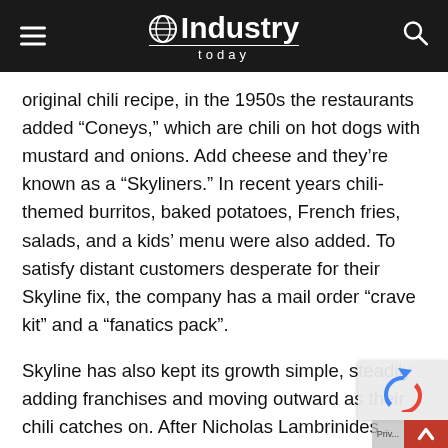Industry Today
original chili recipe, in the 1950s the restaurants added “Coneys,” which are chili on hot dogs with mustard and onions. Add cheese and they’re known as a “Skyliners.” In recent years chili-themed burritos, baked potatoes, French fries, salads, and a kids’ menu were also added. To satisfy distant customers desperate for their Skyline fix, the company has a mail order “crave kit” and a “fanatics pack”.
Skyline has also kept its growth simple, steadily adding franchises and moving outward as their chili catches on. After Nicholas Lambrinides death in 1962, his three sons ran the business until they retired in 1994. Skyline w... acquired by the investment firm Fleet Equity Partne... 1988...